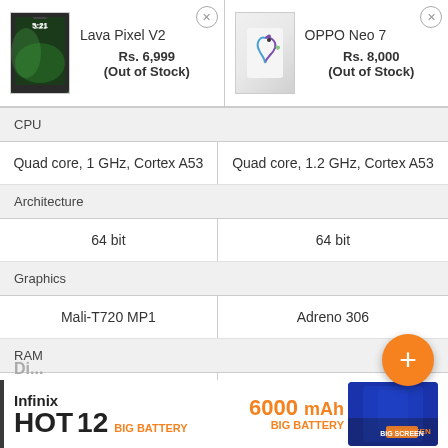[Figure (screenshot): Product comparison page showing Lava Pixel V2 and OPPO Neo 7 smartphones with prices and specs]
|  | Lava Pixel V2 | OPPO Neo 7 |
| --- | --- | --- |
| Price | Rs. 6,999 (Out of Stock) | Rs. 8,000 (Out of Stock) |
| CPU | Quad core, 1 GHz, Cortex A53 | Quad core, 1.2 GHz, Cortex A53 |
| Architecture | 64 bit | 64 bit |
| Graphics | Mali-T720 MP1 | Adreno 306 |
| RAM | 2 GB | 1 GB |
[Figure (photo): Infinix HOT 12 advertisement banner with 6000 mAh Big Battery and BIG SCREEN text]